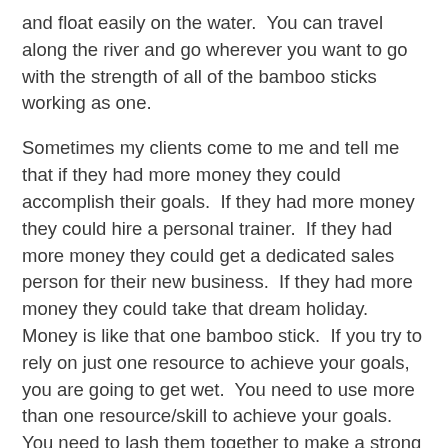and float easily on the water.  You can travel along the river and go wherever you want to go with the strength of all of the bamboo sticks working as one.
Sometimes my clients come to me and tell me that if they had more money they could accomplish their goals.  If they had more money they could hire a personal trainer.  If they had more money they could get a dedicated sales person for their new business.  If they had more money they could take that dream holiday.  Money is like that one bamboo stick.  If you try to rely on just one resource to achieve your goals, you are going to get wet.  You need to use more than one resource/skill to achieve your goals.  You need to lash them together to make a strong foundation on which you can stand.
Now imagine your current resources that you are using to accomplish your goals.  Is it like the one bamboo